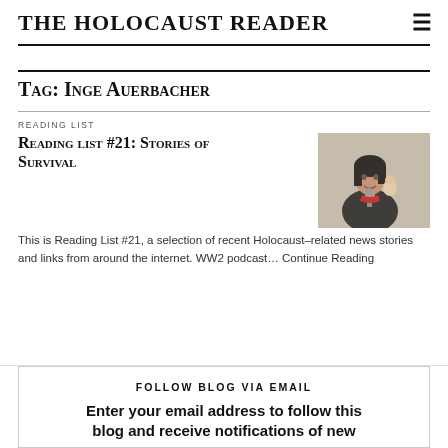The Holocaust Reader
Tag: Inge Auerbacher
READING LIST
Reading list #21: Stories of Survival
[Figure (photo): A woman holding a doll, speaking at a microphone]
This is Reading List #21, a selection of recent Holocaust-related news stories and links from around the internet. WW2 podcast… Continue Reading
FOLLOW BLOG VIA EMAIL
Enter your email address to follow this blog and receive notifications of new